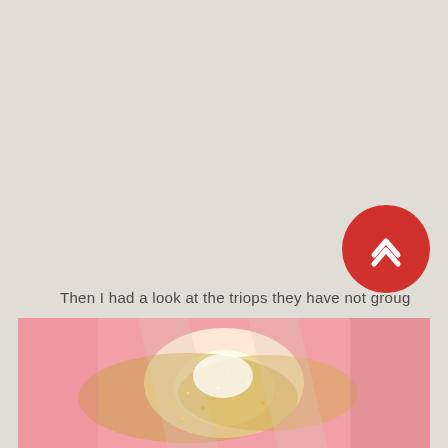Then I had a look at the triops they have not groug
[Figure (photo): Close-up photo of champagne or sparkling drink in glasses with bokeh pink background]
[Figure (other): Red circular button with upward chevron/arrow icon]